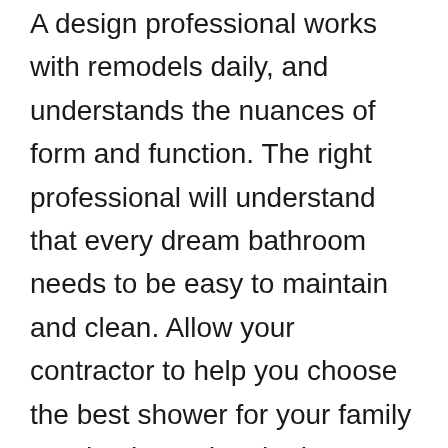A design professional works with remodels daily, and understands the nuances of form and function. The right professional will understand that every dream bathroom needs to be easy to maintain and clean. Allow your contractor to help you choose the best shower for your family needs, determine the best vanity for your space, and select the flooring that will stand up to years of wear and tear from your family.
Hiring a bathroom design professional will reduce your stress and increase your satisfaction during the remodel process and for years to come. Your time is a valuable resource, and by letting a professional handle the tedious stuff, you can